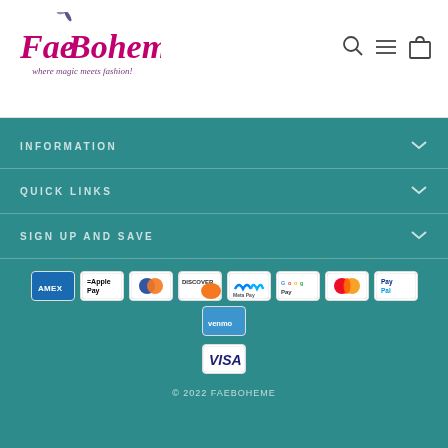Fae Boheme – where magic meets fashion!
INFORMATION
QUICK LINKS
SIGN UP AND SAVE
[Figure (logo): Payment method logos: American Express, Apple Pay, Diners Club, Discover, Meta Pay, Google Pay, Mastercard, PayPal, Venmo, Visa]
© 2022 FAEBOHEME